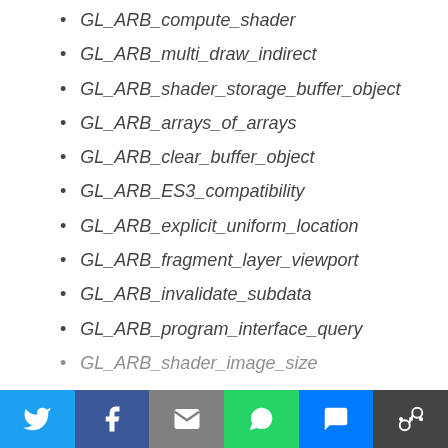GL_ARB_compute_shader
GL_ARB_multi_draw_indirect
GL_ARB_shader_storage_buffer_object
GL_ARB_arrays_of_arrays
GL_ARB_clear_buffer_object
GL_ARB_ES3_compatibility
GL_ARB_explicit_uniform_location
GL_ARB_fragment_layer_viewport
GL_ARB_invalidate_subdata
GL_ARB_program_interface_query
GL_ARB_shader_image_size